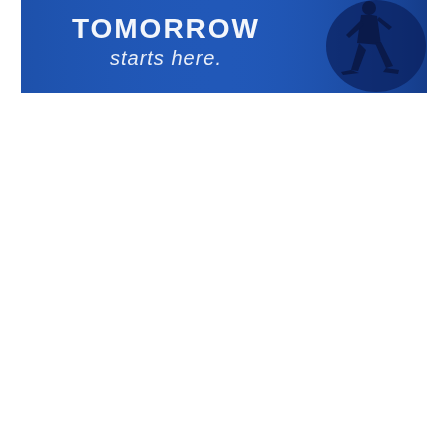[Figure (photo): A blue banner/backdrop with white text reading 'TOMORROW starts here.' and a silhouette of a person walking across the frame in the right portion of the image.]